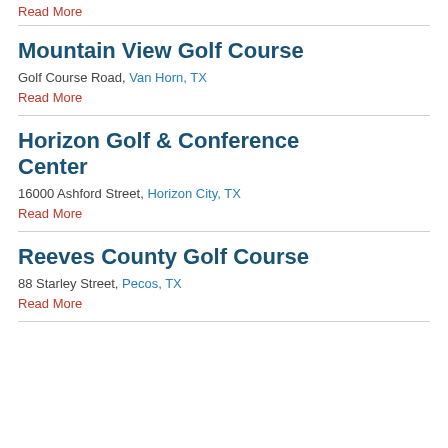Read More
Mountain View Golf Course
Golf Course Road, Van Horn, TX
Read More
Horizon Golf & Conference Center
16000 Ashford Street, Horizon City, TX
Read More
Reeves County Golf Course
88 Starley Street, Pecos, TX
Read More